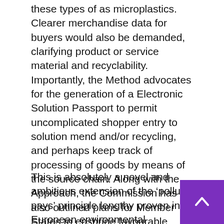these types of as microplastics. Clearer merchandise data for buyers would also be demanded, clarifying product or service material and recyclability. Importantly, the Method advocates for the generation of a Electronic Solution Passport to permit uncomplicated shopper entry to solution mend and/or recycling, and perhaps keep track of processing of goods by means of the source chain. Along with the Approach, the Commission has also outlined plans for Member States to enshrine favourable taxation measures for the reuse and mend sector.
This is absolutely a novel and ambitious extension of the 'polluter pays' principle lengthy proven in European environmental regulation, but also usually difficult to enforce by legislation and regulation. It stays to be viewed irrespective whether the steps set out in the Method will ever make it the statute textbooks throughout the EU. If they do, this kind of law would likely effect ...